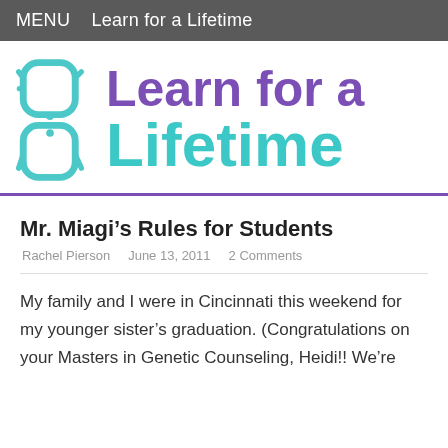MENU   Learn for a Lifetime
[Figure (logo): Learn for a Lifetime logo with teal glasses icon on the left, purple bold text 'Learn for a' on top line, teal bold text 'Lifetime' on bottom line]
Mr. Miagi's Rules for Students
Rachel Pierson   June 13, 2011   2 Comments
My family and I were in Cincinnati this weekend for my younger sister's graduation. (Congratulations on your Masters in Genetic Counseling, Heidi!! We're